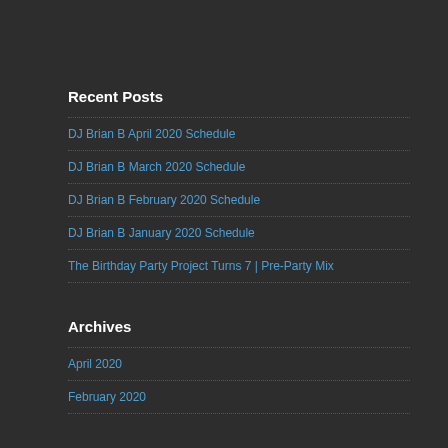Recent Posts
DJ Brian B April 2020 Schedule
DJ Brian B March 2020 Schedule
DJ Brian B February 2020 Schedule
DJ Brian B January 2020 Schedule
The Birthday Party Project Turns 7 | Pre-Party Mix
Archives
April 2020
February 2020